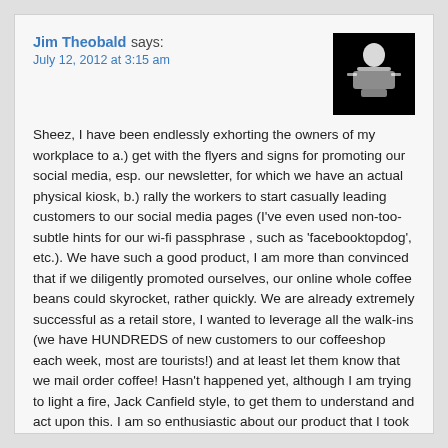Jim Theobald says:
July 12, 2012 at 3:15 am
[Figure (photo): Black and white avatar photo of a person, dark background]
Sheez, I have been endlessly exhorting the owners of my workplace to a.) get with the flyers and signs for promoting our social media, esp. our newsletter, for which we have an actual physical kiosk, b.) rally the workers to start casually leading customers to our social media pages (I've even used non-too-subtle hints for our wi-fi passphrase , such as 'facebooktopdog', etc.). We have such a good product, I am more than convinced that if we diligently promoted ourselves, our online whole coffee beans could skyrocket, rather quickly. We are already extremely successful as a retail store, I wanted to leverage all the walk-ins (we have HUNDREDS of new customers to our coffeeshop each week, most are tourists!) and at least let them know that we mail order coffee! Hasn't happened yet, although I am trying to light a fire, Jack Canfield style, to get them to understand and act upon this. I am so enthusiastic about our product that I took over our website, updated it, installed a wordpress blog, created a newsletter, beefed up our FB and twitter presence (to my delight, mostly with the awarenesses you proscribe). I guess I just have to keep pressing on! Thanks for the inspiration! ~Jimmy, @topdogcoffeebar
Reply